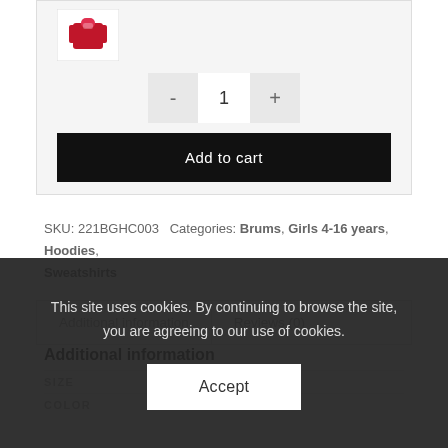[Figure (photo): Red hoodie/sweatshirt product thumbnail image]
- 1 +
Add to cart
SKU: 221BGHC003  Categories: Brums, Girls 4-16 years, Hoodies, Sweatshirts
Additional information   Reviews (0)
Additional information
| SIZE | COLOR |
| --- | --- |
| 7A/8 – 8 Y | 752 |
This site uses cookies. By continuing to browse the site, you are agreeing to our use of cookies.
Accept